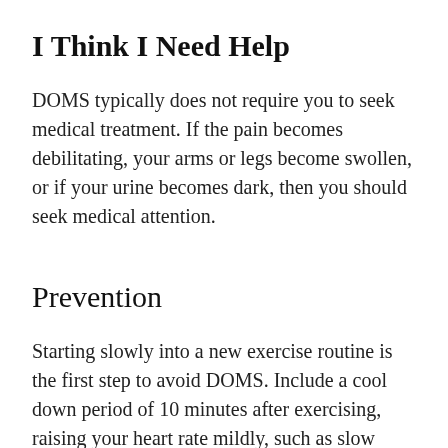I Think I Need Help
DOMS typically does not require you to seek medical treatment. If the pain becomes debilitating, your arms or legs become swollen, or if your urine becomes dark, then you should seek medical attention.
Prevention
Starting slowly into a new exercise routine is the first step to avoid DOMS. Include a cool down period of 10 minutes after exercising, raising your heart rate mildly, such as slow